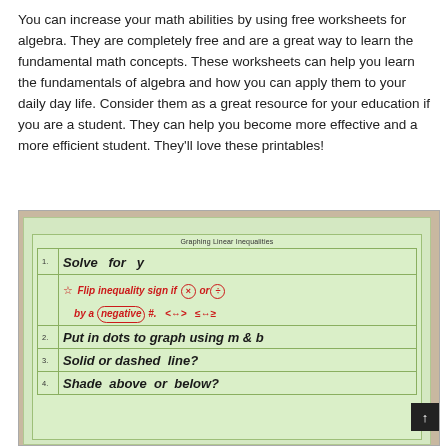You can increase your math abilities by using free worksheets for algebra. They are completely free and are a great way to learn the fundamental math concepts. These worksheets can help you learn the fundamentals of algebra and how you can apply them to your daily day life. Consider them as a great resource for your education if you are a student. They can help you become more effective and a more efficient student. They'll love these printables!
[Figure (photo): A photograph of a green worksheet titled 'Graphing Linear Inequalities' with handwritten steps: 1. Solve for y; a star note in red saying 'Flip inequality sign if (x) or (÷) by a (negative) #. < ↔ > ≤ ↔ ≥'; 2. Put in dots to graph using m & b; 3. Solid or dashed line?; 4. Shade above or below?]